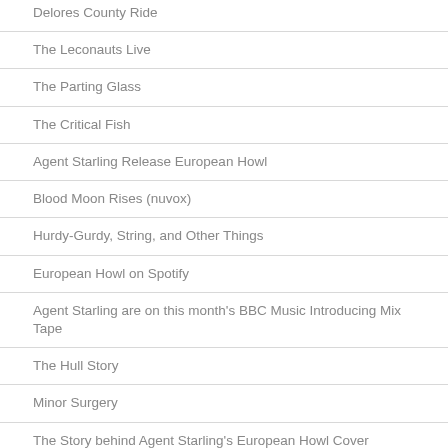Delores County Ride
The Leconauts Live
The Parting Glass
The Critical Fish
Agent Starling Release European Howl
Blood Moon Rises (nuvox)
Hurdy-Gurdy, String, and Other Things
European Howl on Spotify
Agent Starling are on this month's BBC Music Introducing Mix Tape
The Hull Story
Minor Surgery
The Story behind Agent Starling's European Howl Cover